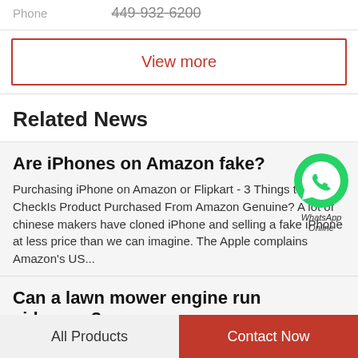Phone    449-932-6200
View more
Related News
Are iPhones on Amazon fake?
[Figure (logo): WhatsApp green circle icon with phone handset, labeled 'WhatsApp Online']
Purchasing iPhone on Amazon or Flipkart - 3 Things to CheckIs Product Purchased From Amazon Genuine? A lot of chinese makers have cloned iPhone and selling a fake iPhone at less price than we can imagine. The Apple complains Amazon's US...
Can a lawn mower engine run sideways?
All Products    Contact Now